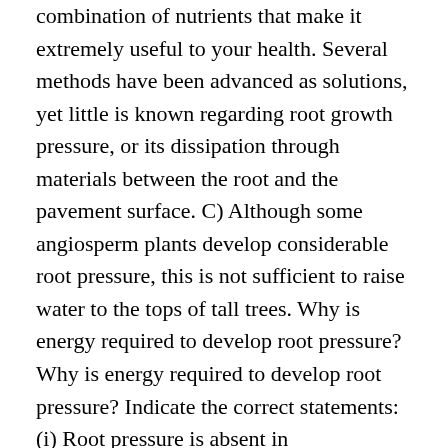combination of nutrients that make it extremely useful to your health. Several methods have been advanced as solutions, yet little is known regarding root growth pressure, or its dissipation through materials between the root and the pavement surface. C) Although some angiosperm plants develop considerable root pressure, this is not sufficient to raise water to the tops of tall trees. Why is energy required to develop root pressure? Why is energy required to develop root pressure? Indicate the correct statements:  (i) Root pressure is absent in gymnosperms. 8. Root pressure is caused by active distribution of mineral nutrient ions into the root xylem. The critical earthworm or root pressure increases